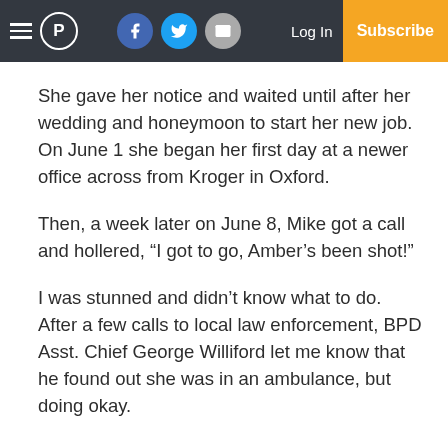P | Log In | Subscribe
She gave her notice and waited until after her wedding and honeymoon to start her new job. On June 1 she began her first day at a newer office across from Kroger in Oxford.
Then, a week later on June 8, Mike got a call and hollered, “I got to go, Amber’s been shot!”
I was stunned and didn’t know what to do. After a few calls to local law enforcement, BPD Asst. Chief George Williford let me know that he found out she was in an ambulance, but doing okay.